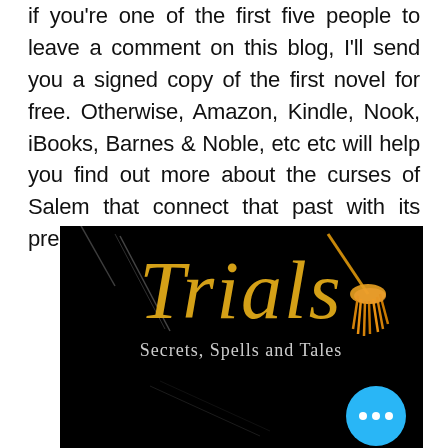if you're one of the first five people to leave a comment on this blog, I'll send you a signed copy of the first novel for free. Otherwise, Amazon, Kindle, Nook, iBooks, Barnes & Noble, etc etc will help you find out more about the curses of Salem that connect that past with its present.
[Figure (illustration): Book cover on black background showing 'Trials' in gold italic calligraphy script with a decorative tassel on the right, and subtitle 'Secrets, Spells and Tales' in light serif text below. A cyan/blue circular button with three dots appears in the bottom-right corner.]